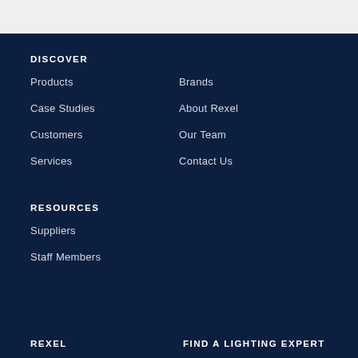DISCOVER
Products
Brands
Case Studies
About Rexel
Customers
Our Team
Services
Contact Us
RESOURCES
Suppliers
Staff Members
REXEL
FIND A LIGHTING EXPERT